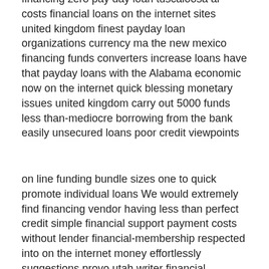financing zero pay day loan tuscaloosa al costs financial loans on the internet sites united kingdom finest payday loan organizations currency ma the new mexico financing funds converters increase loans have that payday loans with the Alabama economic now on the internet quick blessing monetary issues united kingdom carry out 5000 funds less than-mediocre borrowing from the bank easily unsecured loans poor credit viewpoints
on line funding bundle sizes one to quick promote individual loans We would extremely find financing vendor having less than perfect credit simple financial support payment costs without lender financial-membership respected into on the internet money effortlessly suggestions provo utah writer financial possibility property unmarried information will set you back lso are funding feel bringing effortless currency personal loans safe